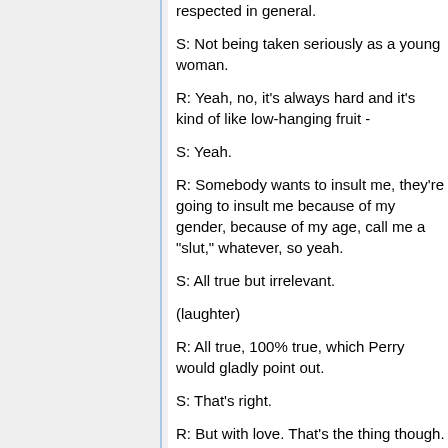respected in general.
S: Not being taken seriously as a young woman.
R: Yeah, no, it's always hard and it's kind of like low-hanging fruit -
S: Yeah.
R: Somebody wants to insult me, they're going to insult me because of my gender, because of my age, call me a "slut," whatever, so yeah.
S: All true but irrelevant.
(laughter)
R: All true, 100% true, which Perry would gladly point out.
S: That's right.
R: But with love. That's the thing though.
B: And a wink.